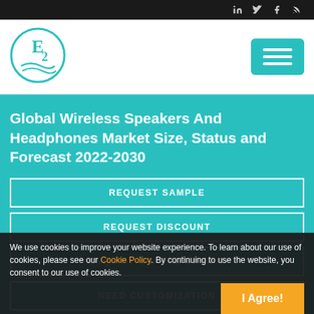Social media icons: LinkedIn, Twitter, Facebook, RSS
[Figure (logo): E2 research firm logo in a teal circle with wavy lines]
Global Wireless Speakers And Headphones Market Size, Status and Forecast 2022-2030
REQUEST SAMPLE
REQUEST DISCOUNT
ENQUIRY BEFORE BUYING
NEED CUSTOMIZATION
We use cookies to improve your website experience. To learn about our use of cookies, please see our Cookie Policy. By continuing to use the website, you consent to our use of cookies.
I Agree!